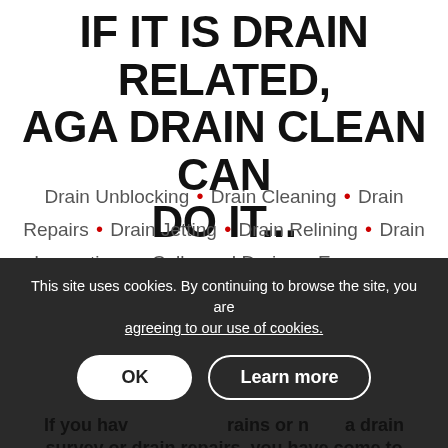IF IT IS DRAIN RELATED, AGA DRAIN CLEAN CAN DO IT...
Drain Unblocking • Drain Cleaning • Drain Repairs • Drain Jetting • Drain Relining • Drain Inspections • Collapsed Drains • Emergency Drain Repairs • Manhole Covers • Re-rounding • Drain Renewal • Sond and Trace • Septic Tank Emptying • Sewage Treatment Plants • Drain Excavations • CCTV Drain Surveys • Rat Valves • Patch Lining • Drain Descaling • Root Removal • Blocked Toilets • Smelly Drains • No-Dig Repairs • Blocked Gullies • Dye Testing • Pre-Purchase Drain Surveys • Pitch Fibre
This site uses cookies. By continuing to browse the site, you are agreeing to our use of cookies.
If you have blocked drains or need a drain survey or drain repairs, you have come to the